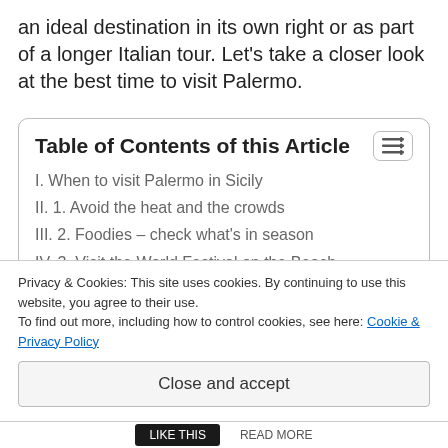an ideal destination in its own right or as part of a longer Italian tour. Let's take a closer look at the best time to visit Palermo.
| I. When to visit Palermo in Sicily |
| II. 1. Avoid the heat and the crowds |
| III. 2. Foodies – check what's in season |
| IV. 3. Visit the World Festival on the Beach |
| V. 4. Runners assemble! |
Privacy & Cookies: This site uses cookies. By continuing to use this website, you agree to their use.
To find out more, including how to control cookies, see here: Cookie & Privacy Policy
Close and accept